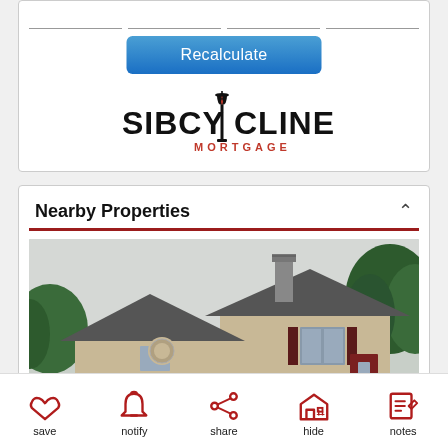[Figure (screenshot): Recalculate button (blue rounded rectangle) with white text]
[Figure (logo): Sibcy Cline Mortgage logo with torch lamp post icon between SIBCY and CLINE in black and red text]
Nearby Properties
[Figure (photo): Exterior photo of a split-level residential house with beige/tan siding, dark shutters, brick foundation, chimney, and trees in background]
save  notify  share  hide  notes